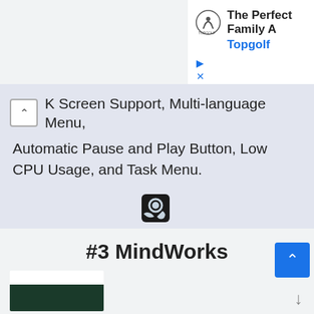[Figure (screenshot): Advertisement banner for Topgolf showing logo, 'The Perfect Family A...' text, 'Topgolf' link in blue, and ad controls (play/close buttons)]
K Screen Support, Multi-language Menu, Automatic Pause and Play Button, Low CPU Usage, and Task Menu.
[Figure (logo): Steam icon/logo]
[Figure (other): Orange button labeled 'SHOW DETAILS' with info icon]
#3 MindWorks
[Figure (photo): Partial thumbnail image showing dark green/teal colored content]